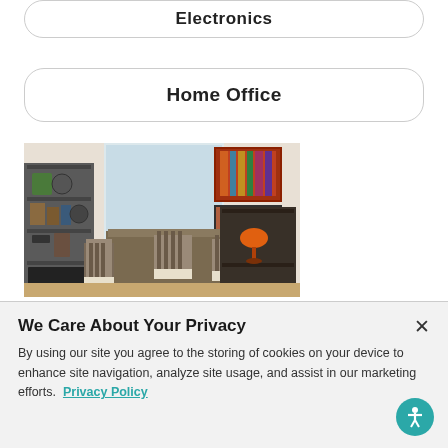Electronics
Home Office
[Figure (photo): A home office/dining room scene with a wooden dining table, ladder-back chairs, metal shelving units with decorative items, artwork on the wall, and a sideboard with an orange lamp.]
We Care About Your Privacy
By using our site you agree to the storing of cookies on your device to enhance site navigation, analyze site usage, and assist in our marketing efforts.  Privacy Policy